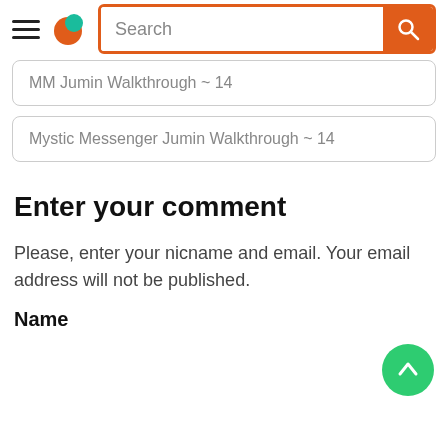Navigation bar with hamburger menu, logo, and search bar
MM Jumin Walkthrough ~ 14
Mystic Messenger Jumin Walkthrough ~ 14
Enter your comment
Please, enter your nicname and email. Your email address will not be published.
Name